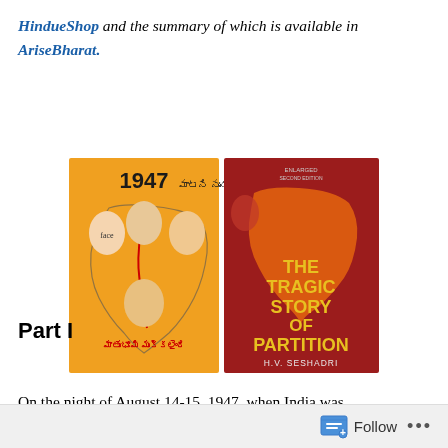HindueShop and the summary of which is available in AriseBharat.
[Figure (photo): Two book covers side by side: (left) An orange cover with Telugu text '1947 మాతృభూమి ముక్కలైంది' showing faces of historical figures and a map of India; (right) A red cover titled 'THE TRAGIC STORY OF PARTITION' by H.V. SESHADRI with a map of India in orange/red.]
Part I
On the night of August 14-15, 1947, when India was
Follow ···